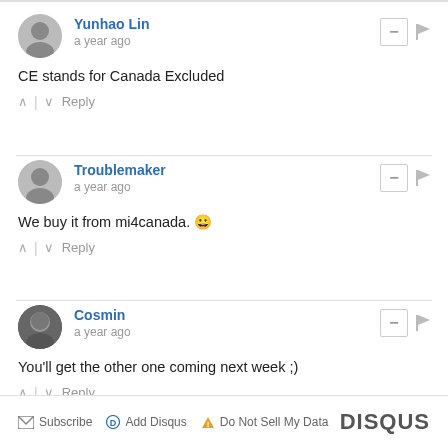Yunhao Lin
a year ago
CE stands for Canada Excluded
Troublemaker
a year ago
We buy it from mi4canada. 😀
Cosmin
a year ago
You'll get the other one coming next week ;)
Subscribe  Add Disqus  Do Not Sell My Data  DISQUS